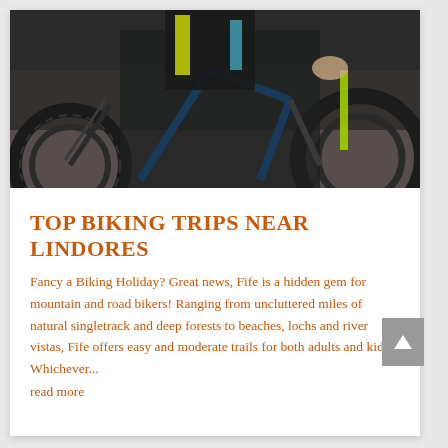[Figure (photo): Close-up photograph of mountain bikes with dark frames and neon yellow/green accents, riders visible in background, outdoor dirt terrain setting]
TOP BIKING TRIPS NEAR LINDORES
Fancy a Biking Holiday? Great news, Fife is a hidden gem for mountain and road bikers! Ranging from uncluttered miles of natural singletrack and deep forests to beaches, lochs and river vistas, Fife offers easy and moderate trails for both adults and kids. Whichever...
read more